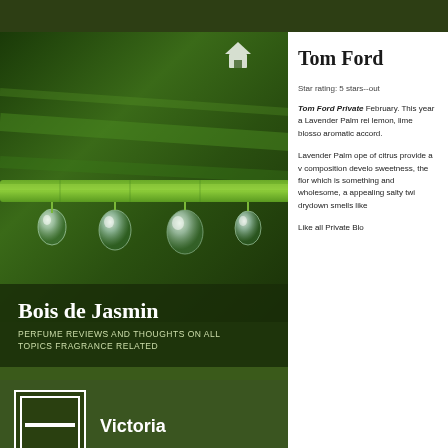[Figure (photo): Close-up photo of green plant stem with water droplets hanging from it, macro photography on dark green background]
Bois de Jasmin
PERFUME REVIEWS AND THOUGHTS ON ALL TOPICS FRAGRANCE RELATED
[Figure (photo): Profile avatar placeholder icon - green square with white border and white horizontal line]
Victoria
1 FOLLOWING  137 FOLLOWERS  Follow
Tom Ford
Star rating: 5 stars--out
Tom Ford Private February. This year a Lavender Palm rei lemon, lime blosso aromatic accord.
Lavender Palm ope of citrus provide a v composition develo sweetness, the flor which is something and wholesome, a appealing salty twi drydown smells like
Like all Private Blo